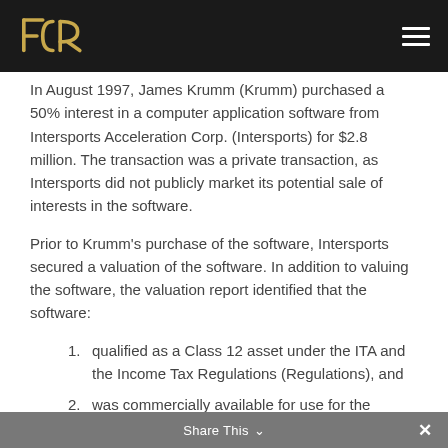FCR — navigation header
In August 1997, James Krumm (Krumm) purchased a 50% interest in a computer application software from Intersports Acceleration Corp. (Intersports) for $2.8 million. The transaction was a private transaction, as Intersports did not publicly market its potential sale of interests in the software.
Prior to Krumm's purchase of the software, Intersports secured a valuation of the software. In addition to valuing the software, the valuation report identified that the software:
qualified as a Class 12 asset under the ITA and the Income Tax Regulations (Regulations), and
was commercially available for use for the purposes of the ITA and the Regulations.
Share This